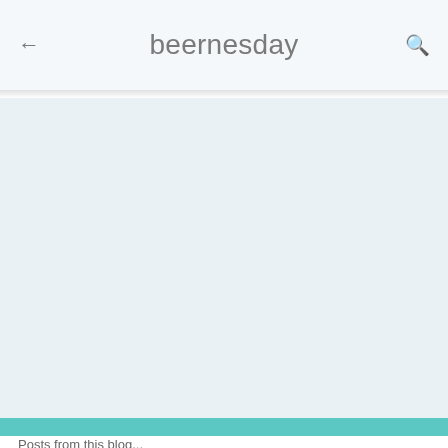beernesday
[Figure (screenshot): Empty light blue-grey content area below the header, representing a mobile app screen body]
Posts from this blog...